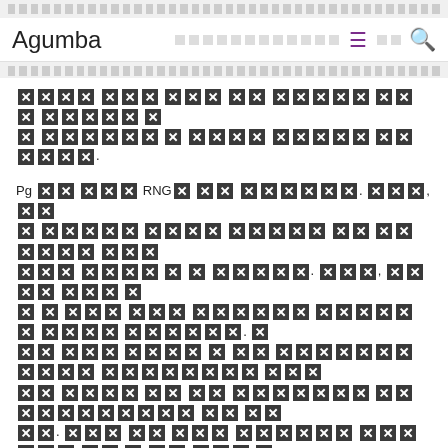Agumba
[redacted text paragraph 1]
Pg [redacted] RNG[redacted] [redacted]. [redacted], [redacted] [redacted paragraph continues]
[redacted text paragraph 3]